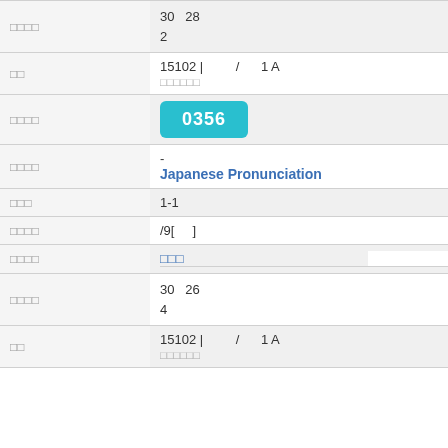| □□□□ | 30  28
2 |
| □□ | 15102 |  /  1 A
□□□□□□ |
| □□□□ | 0356 |
| □□□□ | -
Japanese Pronunciation |
| □□□ | 1-1 |
| □□□□ | /9[  ] |
| □□□□ | □□□ |
| □□□□ | 30  26
4 |
| □□ | 15102 |  /  1 A
□□□□□□ |